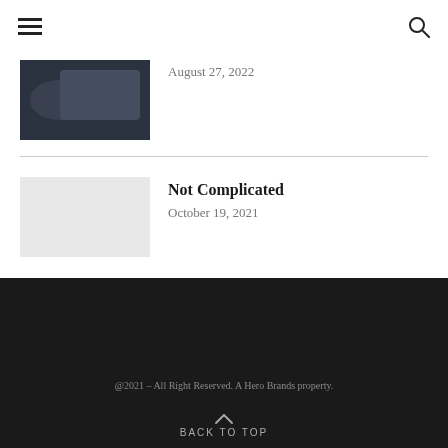Navigation menu and search
[Figure (photo): Dark colored vehicle/motorcycle close-up photo thumbnail]
August 27, 2022
[Figure (photo): Light gray placeholder image thumbnail]
Not Complicated
October 19, 2021
@2021 – All Right Reserved. A Hero Brands property.
BACK TO TOP